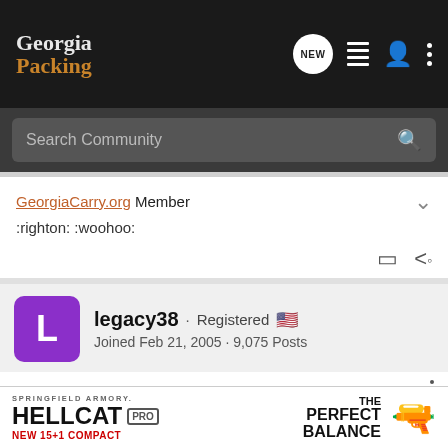Georgia Packing
Search Community
GeorgiaCarry.org Member
:righton: :woohoo:
legacy38 · Registered
Joined Feb 21, 2005 · 9,075 Posts
#7 · May 29, 2007
A positive encounter with a police officer? This can't be tolerated. Please send me his name and department immediately so that I can have him properly reprimanded.
[Figure (screenshot): Springfield Armory Hellcat Pro advertisement banner at the bottom of the page]